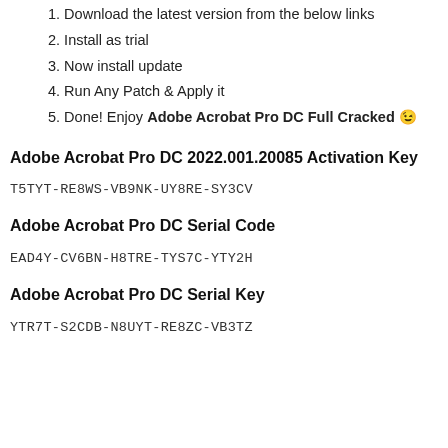1. Download the latest version from the below links
2. Install as trial
3. Now install update
4. Run Any Patch & Apply it
5. Done! Enjoy Adobe Acrobat Pro DC Full Cracked 😉
Adobe Acrobat Pro DC 2022.001.20085 Activation Key
T5TYT-RE8WS-VB9NK-UY8RE-SY3CV
Adobe Acrobat Pro DC Serial Code
EAD4Y-CV6BN-H8TRE-TYS7C-YTY2H
Adobe Acrobat Pro DC Serial Key
YTR7T-S2CDB-N8UYT-RE8ZC-VB3TZ